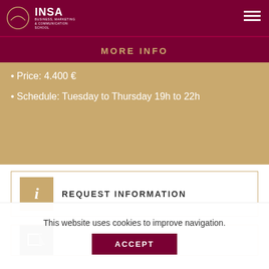[Figure (logo): INSA Business, Marketing & Communication School logo with circle emblem on dark red header]
MORE INFO
Price: 4.400 €
Schedule: Tuesday to Thursday 19h to 22h
REQUEST INFORMATION
This website uses cookies to improve navigation.
ACCEPT